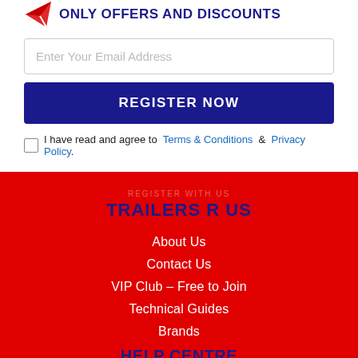ONLY OFFERS AND DISCOUNTS
Enter Your Email Address
REGISTER NOW
I have read and agree to Terms & Conditions & Privacy Policy.
TRAILERS R US
About Us
Contact Us
VIP Club – Free to Join
Technical Guides
Brands
HELP CENTRE